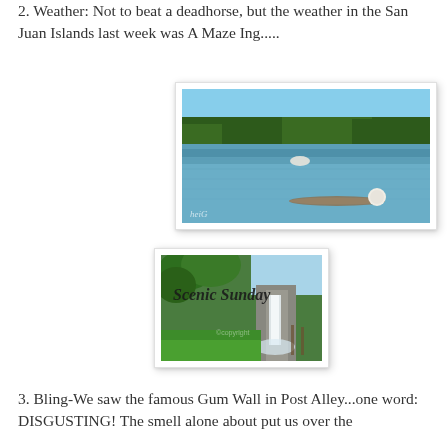2. Weather: Not to beat a deadhorse, but the weather in the San Juan Islands last week was A Maze Ing.....
[Figure (photo): Scenic lake with calm water reflecting trees and a white buoy floating near a log or debris in the foreground. Trees line the far shore under a clear blue sky. Watermark 'heiG' in lower left.]
[Figure (photo): Scenic Sunday badge/logo image showing a waterfall and green foliage with text 'Scenic Sunday' overlaid in decorative font.]
3. Bling-We saw the famous Gum Wall in Post Alley...one word: DISGUSTING! The smell alone about put us over the